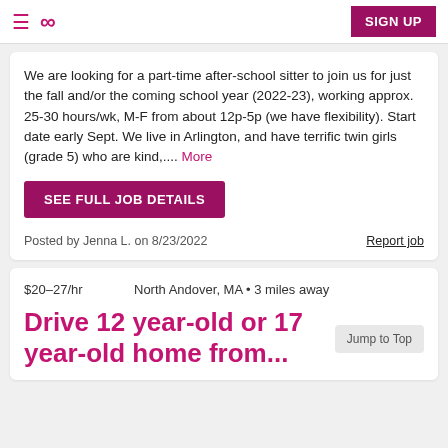≡ ∞ SIGN UP
We are looking for a part-time after-school sitter to join us for just the fall and/or the coming school year (2022-23), working approx. 25-30 hours/wk, M-F from about 12p-5p (we have flexibility). Start date early Sept. We live in Arlington, and have terrific twin girls (grade 5) who are kind,.... More
SEE FULL JOB DETAILS
Posted by Jenna L. on 8/23/2022
Report job
$20–27/hr    North Andover, MA • 3 miles away
Drive 12 year-old or 17 year-old home from...
Jump to Top